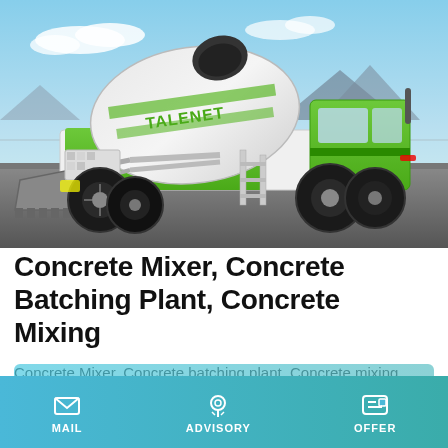[Figure (photo): Green and white TALENET self-loading concrete mixer truck on a paved surface with mountains and blue sky in the background]
Concrete Mixer, Concrete Batching Plant, Concrete Mixing
Concrete Mixer, Concrete batching plant, Concrete mixing
Learn More
MAIL  ADVISORY  OFFER